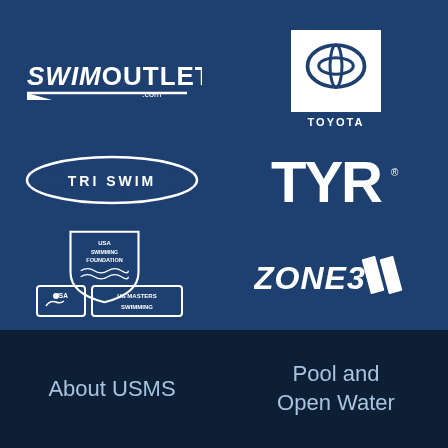[Figure (logo): SwimOutlet.com logo - white text on dark blue background]
[Figure (logo): Toyota logo - white Toyota symbol and TOYOTA text on white square background]
[Figure (logo): TRI SWIM logo - white text in oval outline]
[Figure (logo): TYR logo - large white bold letters]
[Figure (logo): USA Swimming Foundation and US Masters Swimming logos combined]
[Figure (logo): ZONE3 logo with diagonal stripe mark]
About USMS
Pool and Open Water